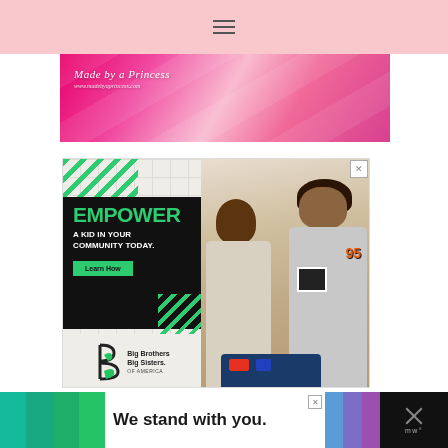Navigation bar with hamburger menu icon
[Figure (photo): Made by a Princess blog banner — pink ribbon/fabric background with white italic text 'Made by a Princess' and website URL]
[Figure (infographic): Big Brothers Big Sisters of America advertisement: 'EMPOWER A KID IN YOUR COMMUNITY TODAY.' with green Learn How button and BBBS logo on left, photo of adult man and child working together on right. Close button X in top right corner.]
[Figure (infographic): Bottom banner ad with 'We stand with you.' text in bold on white background, colorful green/teal blocks on left, blue/purple blocks on right, black background with X close button and mw logo on far right.]